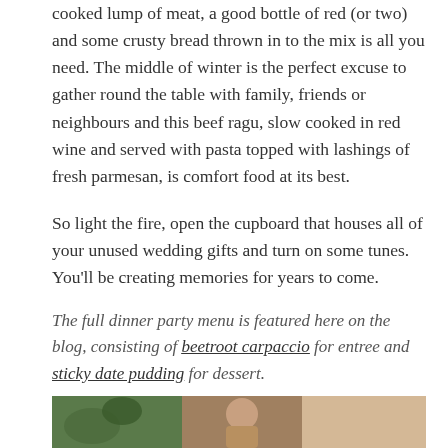cooked lump of meat, a good bottle of red (or two) and some crusty bread thrown in to the mix is all you need. The middle of winter is the perfect excuse to gather round the table with family, friends or neighbours and this beef ragu, slow cooked in red wine and served with pasta topped with lashings of fresh parmesan, is comfort food at its best.
So light the fire, open the cupboard that houses all of your unused wedding gifts and turn on some tunes. You'll be creating memories for years to come.
The full dinner party menu is featured here on the blog, consisting of beetroot carpaccio for entree and sticky date pudding for dessert.
[Figure (photo): A partial photo showing people at what appears to be a dinner party, with green plants visible on the left side.]